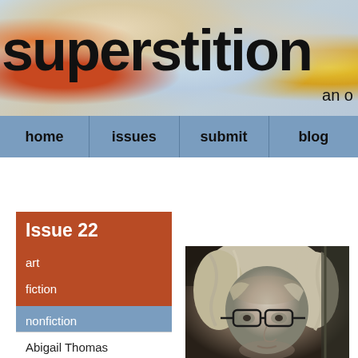superstition
an o
home  issues  submit  blog
Issue 22
art
fiction
interviews
nonfiction
Abigail Thomas
[Figure (photo): Black and white portrait photo of a woman with curly/wavy hair and glasses]